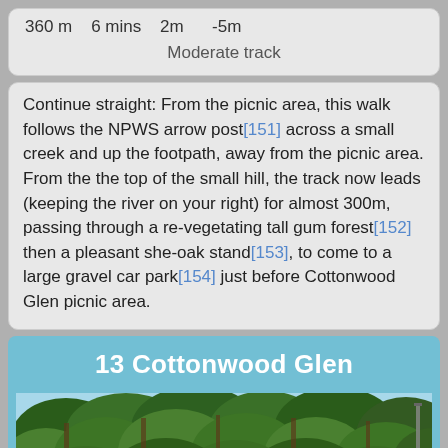360 m   6 mins   2m   -5m
Moderate track
Continue straight: From the picnic area, this walk follows the NPWS arrow post[151] across a small creek and up the footpath, away from the picnic area. From the the top of the small hill, the track now leads (keeping the river on your right) for almost 300m, passing through a re-vegetating tall gum forest[152] then a pleasant she-oak stand[153], to come to a large gravel car park[154] just before Cottonwood Glen picnic area.
13 Cottonwood Glen
[Figure (photo): Photograph of a forested area with tall gum trees and dense green canopy under a blue sky, likely at Cottonwood Glen picnic area.]